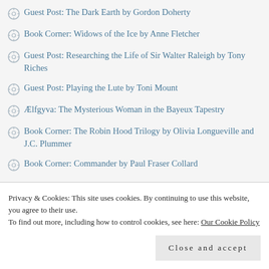Guest Post: The Dark Earth by Gordon Doherty
Book Corner: Widows of the Ice by Anne Fletcher
Guest Post: Researching the Life of Sir Walter Raleigh by Tony Riches
Guest Post: Playing the Lute by Toni Mount
Ælfgyva: The Mysterious Woman in the Bayeux Tapestry
Book Corner: The Robin Hood Trilogy by Olivia Longueville and J.C. Plummer
Book Corner: Commander by Paul Fraser Collard
Privacy & Cookies: This site uses cookies. By continuing to use this website, you agree to their use.
To find out more, including how to control cookies, see here: Our Cookie Policy
Close and accept